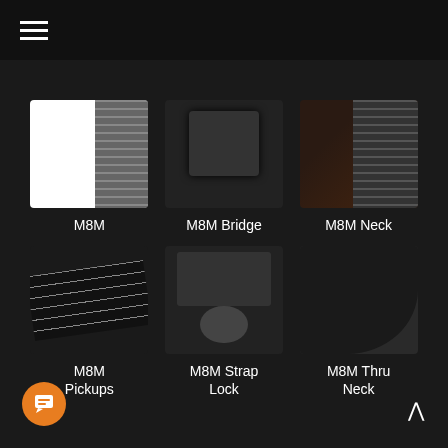Navigation menu
[Figure (photo): Close-up photo of guitar fretboard, white/light background with dark frets]
M8M
[Figure (photo): Close-up photo of dark guitar bridge hardware]
M8M Bridge
[Figure (photo): Close-up photo of dark guitar neck with frets visible]
M8M Neck
[Figure (photo): Close-up photo of guitar strings and pickups, dark background]
M8M Pickups
[Figure (photo): Close-up photo of guitar strap lock mechanism]
M8M Strap Lock
[Figure (photo): Close-up photo of dark guitar body showing through-neck cutaway]
M8M Thru Neck